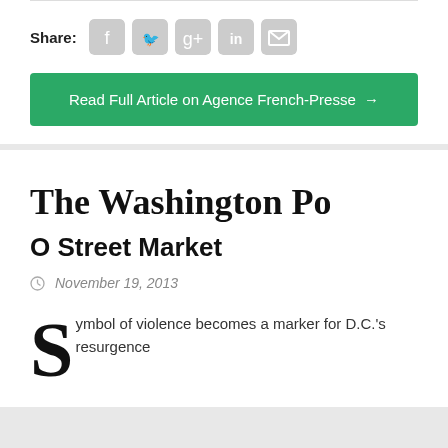Share:
[Figure (infographic): Social share icons: Facebook, Twitter, Google+, LinkedIn, Email]
Read Full Article on Agence French-Presse →
[Figure (logo): The Washington Post masthead logo in blackletter font]
O Street Market
November 19, 2013
ymbol of violence becomes a marker for D.C.'s resurgence